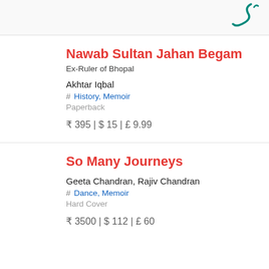[Figure (illustration): Teal/green decorative squiggle or signature graphic in top-right corner of page header strip]
Nawab Sultan Jahan Begam
Ex-Ruler of Bhopal
Akhtar Iqbal
# History, Memoir
Paperback
₹ 395 | $ 15 | £ 9.99
So Many Journeys
Geeta Chandran, Rajiv Chandran
# Dance, Memoir
Hard Cover
₹ 3500 | $ 112 | £ 60